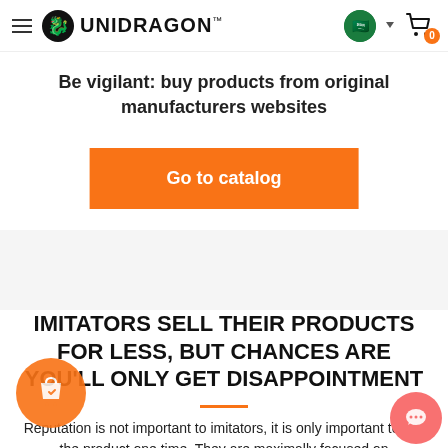UNIDRAGON™
Be vigilant: buy products from original manufacturers websites
Go to catalog
IMITATORS SELL THEIR PRODUCTS FOR LESS, BUT CHANCES ARE YOU'LL ONLY GET DISAPPOINTMENT
Reputation is not important to imitators, it is only important to sell the product one time. They are maximally focused on